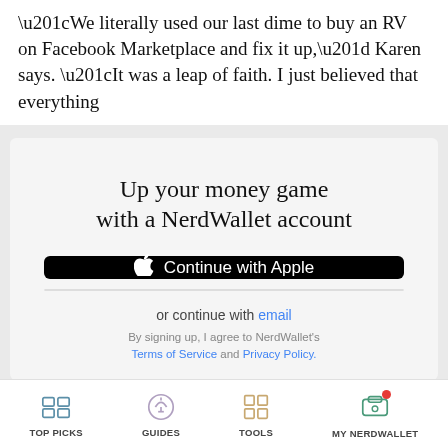“We literally used our last dime to buy an RV on Facebook Marketplace and fix it up,” Karen says. “It was a leap of faith. I just believed that everything
[Figure (screenshot): Modal dialog: 'Up your money game with a NerdWallet account' with Continue with Apple and Continue with Google buttons, or continue with email link, and Terms of Service / Privacy Policy text]
TOP PICKS   GUIDES   TOOLS   MY NERDWALLET